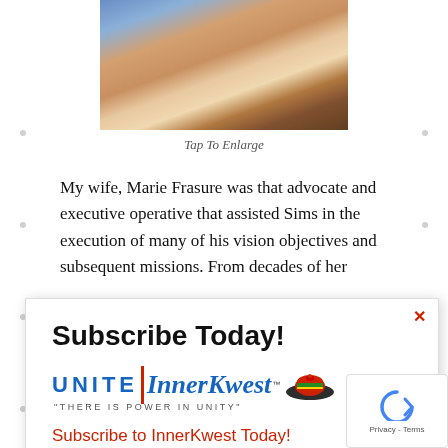[Figure (photo): Photo of people at an outdoor gathering, partially visible at the top of the page]
Tap To Enlarge
My wife, Marie Frasure was that advocate and executive operative that assisted Sims in the execution of many of his vision objectives and subsequent missions. From decades of her
[Figure (other): Popup subscription modal with close button (x), title 'Subscribe Today!', Unite InnerKwest logo with tagline 'THERE IS POWER IN UNITY', and red text 'Subscribe to InnerKwest Today!']
e World, ongress, ublican ered and an tages.